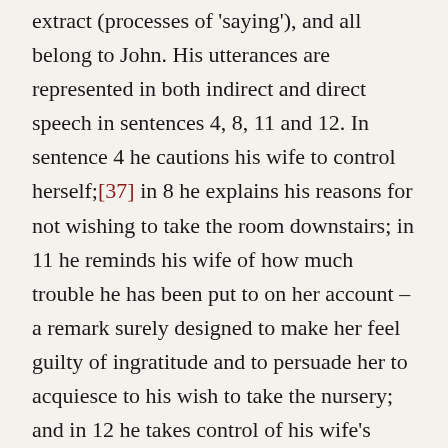extract (processes of 'saying'), and all belong to John. His utterances are represented in both indirect and direct speech in sentences 4, 8, 11 and 12. In sentence 4 he cautions his wife to control herself;[37] in 8 he explains his reasons for not wishing to take the room downstairs; in 11 he reminds his wife of how much trouble he has been put to on her account – a remark surely designed to make her feel guilty of ingratitude and to persuade her to acquiesce to his wish to take the nursery; and in 12 he takes control of his wife's exercise régime, diet, and even her breathing!
John's reasons for not wishing to take the room downstairs (8) can be compared to his wife's reasons